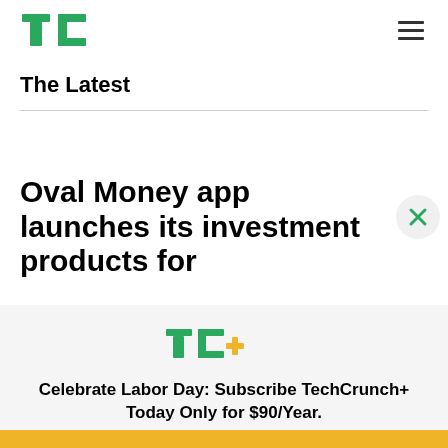[Figure (logo): TechCrunch TC logo in green]
The Latest
Oval Money app launches its investment products for
[Figure (logo): TC+ TechCrunch Plus logo in green with yellow plus sign]
Celebrate Labor Day: Subscribe TechCrunch+ Today Only for $90/Year.
GET OFFER NOW